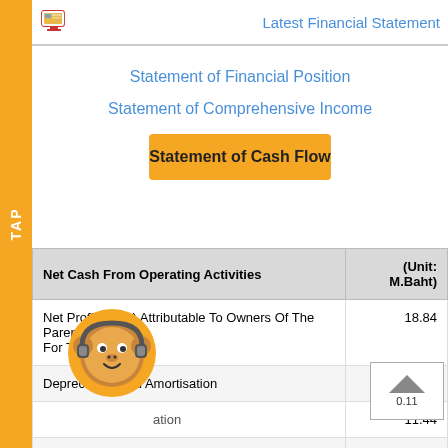Latest Financial Statement
Statement of Financial Position
Statement of Comprehensive Income
Statement of Cash Flow
| Net Cash From Operating Activities | (Unit: M.Baht) |
| --- | --- |
| Net Profit (Loss) Attributable To Owners Of The Parent For The Period | 18.84 |
| Depreciation And Amortisation | 11.55 |
| ...ation | 11.44 |
| ...isation | 0.11 |